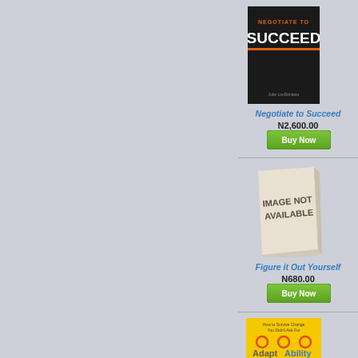[Figure (photo): Book cover for 'Negotiate to Succeed' by Julie Loutsmasto - dark/black cover with orange and white title text]
Negotiate to Succeed
N2,600.00
[Figure (other): Green 'Buy Now' button]
[Figure (photo): Image Not Available placeholder book graphic]
Figure it Out Yourself
N680.00
[Figure (other): Green 'Buy Now' button]
[Figure (photo): Book cover for AdaptAbility - yellow cover with circular icons and title text]